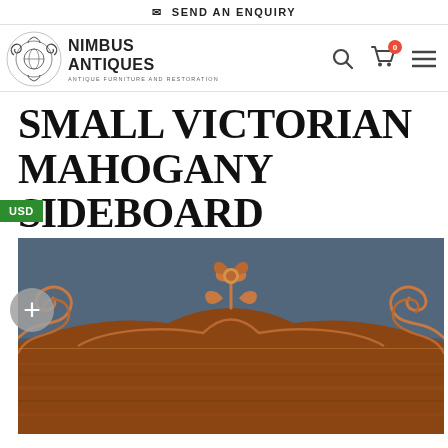SEND AN ENQUIRY
[Figure (logo): Nimbus Antiques logo with decorative scroll icon and text: NIMBUS ANTIQUES, ANTIQUE FURNITURE AND RESTORATION]
SMALL VICTORIAN MAHOGANY SIDEBOARD
[Figure (photo): Close-up photo of a Victorian mahogany sideboard showing ornate carved wooden back panel with scrollwork and floral crest detail on a dark grey-blue background]